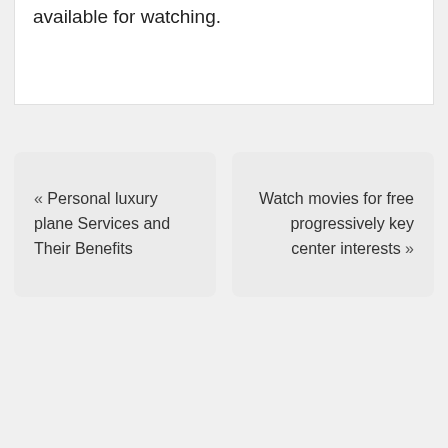available for watching.
« Personal luxury plane Services and Their Benefits
Watch movies for free progressively key center interests »